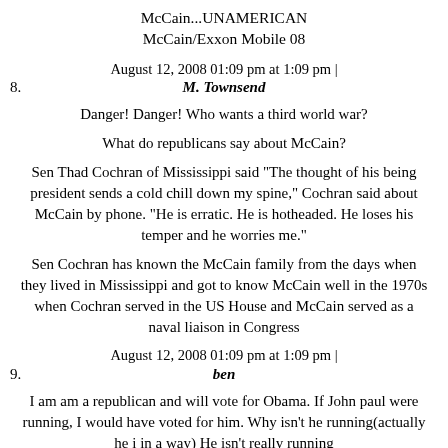McCain...UNAMERICAN
McCain/Exxon Mobile 08
August 12, 2008 01:09 pm at 1:09 pm |
8. M. Townsend
Danger! Danger! Who wants a third world war?

What do republicans say about McCain?

Sen Thad Cochran of Mississippi said "The thought of his being president sends a cold chill down my spine," Cochran said about McCain by phone. "He is erratic. He is hotheaded. He loses his temper and he worries me."

Sen Cochran has known the McCain family from the days when they lived in Mississippi and got to know McCain well in the 1970s when Cochran served in the US House and McCain served as a naval liaison in Congress
August 12, 2008 01:09 pm at 1:09 pm |
9. ben
I am am a republican and will vote for Obama. If John paul were running, I would have voted for him. Why isn't he running(actually he i in a way) He isn't really running